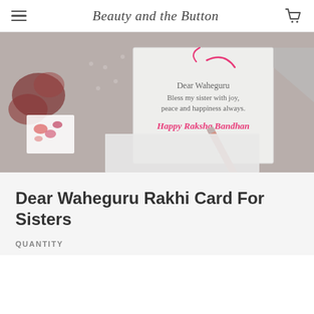Beauty and the Button
[Figure (photo): A greeting card showing the text 'Dear Waheguru Bless my sister with joy, peace and happiness always. Happy Raksha Bandhan' in pink and grey script/handwritten fonts, placed on a white surface next to a pink pencil, with floral cards visible in the background.]
Dear Waheguru Rakhi Card For Sisters
QUANTITY